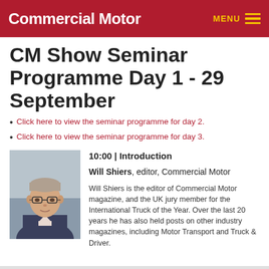Commercial Motor | MENU
CM Show Seminar Programme Day 1 - 29 September
Click here to view the seminar programme for day 2.
Click here to view the seminar programme for day 3.
[Figure (photo): Portrait photo of Will Shiers, a man wearing glasses and a suit jacket]
10:00 | Introduction
Will Shiers, editor, Commercial Motor
Will Shiers is the editor of Commercial Motor magazine, and the UK jury member for the International Truck of the Year. Over the last 20 years he has also held posts on other industry magazines, including Motor Transport and Truck & Driver.